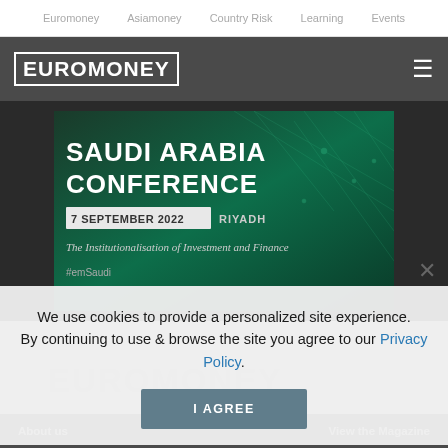Euromoney   Asiamoney   Country Risk   Learning   Events
[Figure (screenshot): Euromoney logo bar with dark grey background and hamburger menu icon]
[Figure (photo): Saudi Arabia Conference banner. Dark green background with network/web graphic. Text reads: SAUDI ARABIA CONFERENCE, 7 SEPTEMBER 2022, RIYADH, The Institutionalisation of Investment and Finance, #emSaudi]
We use cookies to provide a personalized site experience.
By continuing to use & browse the site you agree to our Privacy Policy.
I AGREE
About us   View the Magazine